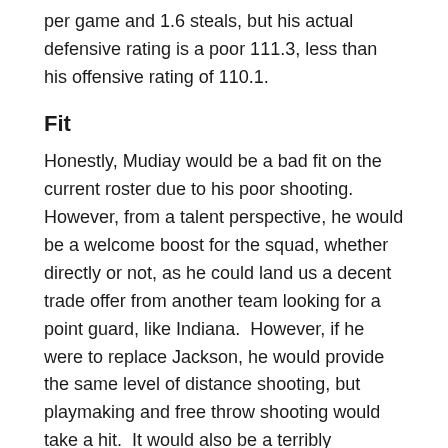per game and 1.6 steals, but his actual defensive rating is a poor 111.3, less than his offensive rating of 110.1.
Fit
Honestly, Mudiay would be a bad fit on the current roster due to his poor shooting.  However, from a talent perspective, he would be a welcome boost for the squad, whether directly or not, as he could land us a decent trade offer from another team looking for a point guard, like Indiana.  However, if he were to replace Jackson, he would provide the same level of distance shooting, but playmaking and free throw shooting would take a hit.  It would also be a terribly inconsistent backcourt shooting wise, unless KCP develops a more reliable stroke.  My guess would be if we were to draft him, it would b...